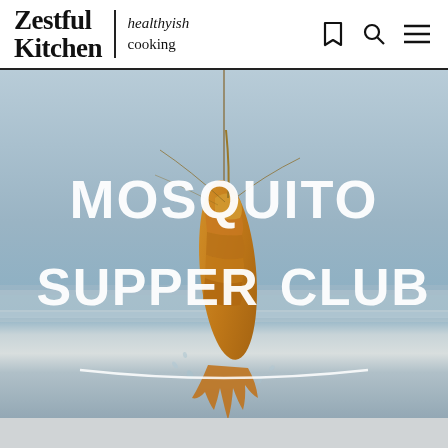Zestful Kitchen | healthyish cooking
[Figure (photo): A raw shrimp hanging on a fishing hook against a blurred waterscape background, with white hand-lettered text reading MOSQUITO SUPPER CLUB overlaid on the image.]